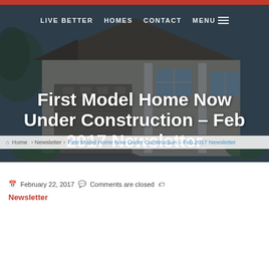[Figure (photo): Hero image of a model home (craftsman style house with garage) with dark overlay. Navigation bar with LIVE BETTER, HOMES, CONTACT, MENU links overlaid at top.]
First Model Home Now Under Construction – Feb 2017 Newsletter
Home › Newsletter › First Model Home Now Under Construction – Feb 2017 Newsletter
February 22, 2017   Comments are closed
Newsletter